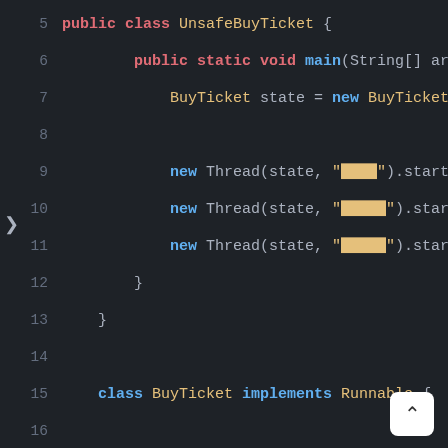[Figure (screenshot): Dark-themed Java code editor screenshot showing lines 5-23 of a multithreaded ticket-buying program. Lines shown include: public class UnsafeBuyTicket class definition, main method creating BuyTicket state and starting three threads with Chinese character string names, then BuyTicket class implementing Runnable with fields ticketNumbers=10 and boolean flag=true, Override annotation, public void run() method, and while(flag) loop.]